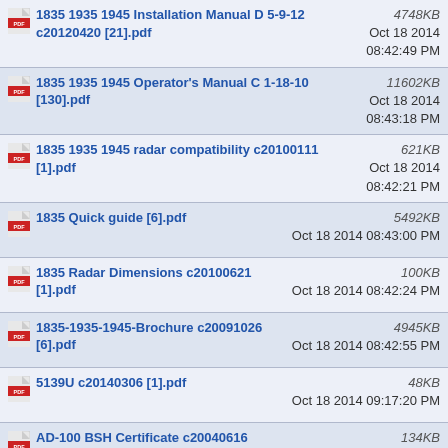1835 1935 1945 Installation Manual D 5-9-12 c20120420 [21].pdf
1835 1935 1945 Operator's Manual C 1-18-10 [130].pdf
1835 1935 1945 radar compatibility c20100111 [1].pdf
1835 Quick guide [6].pdf
1835 Radar Dimensions c20100621 [1].pdf
1835-1935-1945-Brochure c20091026 [6].pdf
5139U c20140306 [1].pdf
AD-100 BSH Certificate c20040616 [2].pdf
AD-100 Operator's Manual ver U 8-20-04 c20061212 [32].pdf